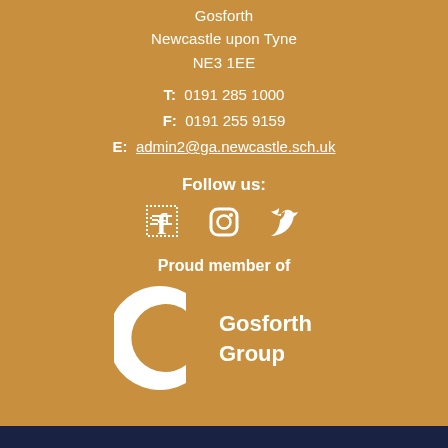Gosforth
Newcastle upon Tyne
NE3 1EE
T: 0191 285 1000
F: 0191 255 9159
E: admin2@ga.newcastle.sch.uk
Follow us:
[Figure (illustration): Social media icons: Facebook, Instagram, Twitter]
Proud member of
[Figure (logo): Gosforth Group logo - white C-shaped arc with G cutout and text Gosforth Group]